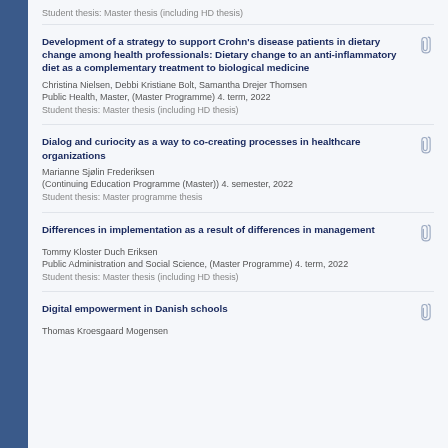Student thesis: Master thesis (including HD thesis)
Development of a strategy to support Crohn's disease patients in dietary change among health professionals: Dietary change to an anti-inflammatory diet as a complementary treatment to biological medicine
Christina Nielsen, Debbi Kristiane Bolt, Samantha Drejer Thomsen
Public Health, Master, (Master Programme) 4. term, 2022
Student thesis: Master thesis (including HD thesis)
Dialog and curiocity as a way to co-creating processes in healthcare organizations
Marianne Sjølin Frederiksen
(Continuing Education Programme (Master)) 4. semester, 2022
Student thesis: Master programme thesis
Differences in implementation as a result of differences in management
Tommy Kloster Duch Eriksen
Public Administration and Social Science, (Master Programme) 4. term, 2022
Student thesis: Master thesis (including HD thesis)
Digital empowerment in Danish schools
Thomas Kroesgaard Mogensen